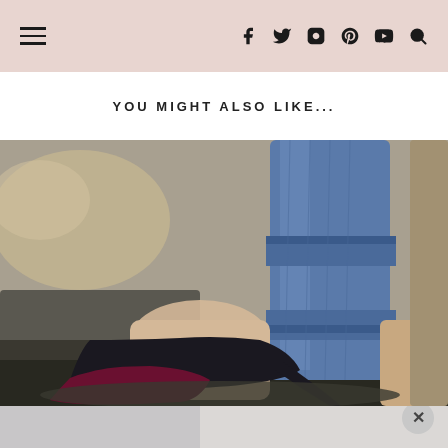Navigation header with hamburger menu and social icons (facebook, twitter, instagram, pinterest, youtube, search)
YOU MIGHT ALSO LIKE...
[Figure (photo): Close-up photo of a person wearing rolled-up blue jeans and dark burgundy/black pointed-toe stiletto heel pumps, standing on rocky outdoor surface]
[Figure (photo): Partial view of second photo below, showing lighter background, with a circular close/dismiss button in the bottom right corner]